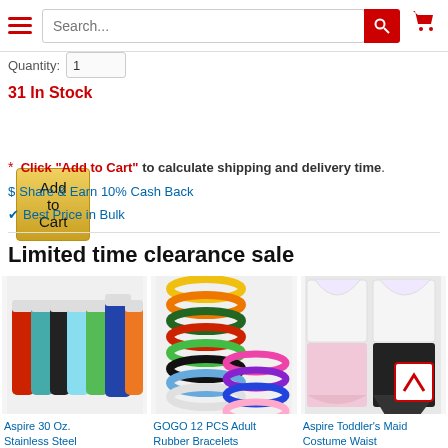[Figure (screenshot): E-commerce website navigation bar with hamburger menu, search bar, and cart icon]
Quantity: 1
31 In Stock
Add to Cart
* Click "Add to Cart" to calculate shipping and delivery time.
$ Share & Earn 10% Cash Back
Best Price in Bulk
Limited time clearance sale
[Figure (photo): Aspire 30 Oz. Stainless Steel insulated tumblers in multiple colors]
Aspire 30 Oz. Stainless Steel
[Figure (photo): GOGO 12 PCS Adult Rubber Bracelets in multiple colors]
GOGO 12 PCS Adult Rubber Bracelets
[Figure (photo): Aspire Toddler's Maid Costume Waist aprons in multiple colors]
Aspire Toddler's Maid Costume Waist